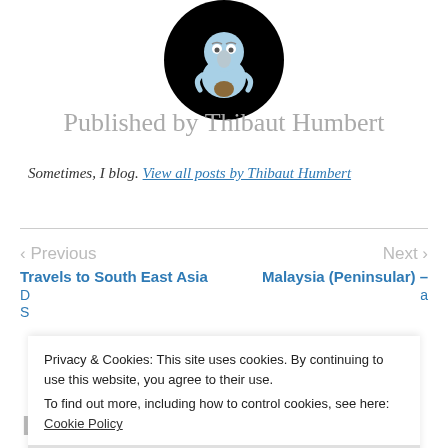[Figure (illustration): Circular avatar with black background featuring a cartoon bird/pelican character in light blue color, looking grumpy]
Published by Thibaut Humbert
Sometimes, I blog. View all posts by Thibaut Humbert
< Previous
Travels to South East Asia
Next >
Malaysia (Peninsular) –
Privacy & Cookies: This site uses cookies. By continuing to use this website, you agree to their use.
To find out more, including how to control cookies, see here: Cookie Policy
Close and accept
Leave a Reply